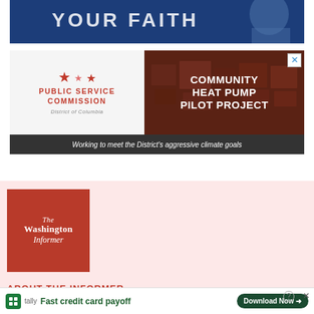[Figure (photo): Top banner advertisement showing a person in blue jacket with headphones, with dark blue overlay and partial text 'YOUR FAITH']
[Figure (infographic): Public Service Commission District of Columbia advertisement for Community Heat Pump Pilot Project, with aerial photo of buildings and text 'Working to meet the District's aggressive climate goals']
[Figure (logo): The Washington Informer logo — white serif text on dark red/crimson square background]
ABOUT THE INFORMER
We proudly serve the African-American
[Figure (infographic): Tally app advertisement banner at bottom: 'Fast credit card payoff' with Download Now button]